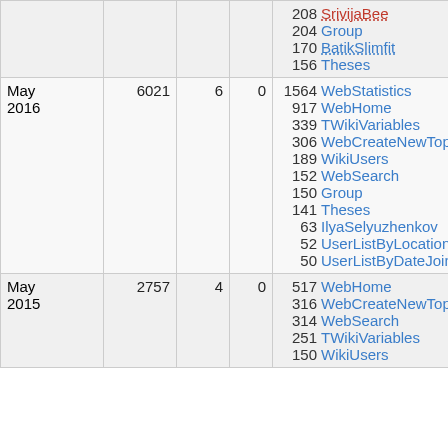| Month | Views | Edits | Users | Top Pages |
| --- | --- | --- | --- | --- |
|  |  |  |  | 208 SrivijaBee
204 Group
170 BatikSlimfit
156 Theses |
| May 2016 | 6021 | 6 | 0 | 1564 WebStatistics
917 WebHome
339 TWikiVariables
306 WebCreateNewTopic
189 WikiUsers
152 WebSearch
150 Group
141 Theses
63 IlyaSelyuzhenkov
52 UserListByLocation
50 UserListByDateJoined |
| May 2015 | 2757 | 4 | 0 | 517 WebHome
316 WebCreateNewTopic
314 WebSearch
251 TWikiVariables
150 WikiUsers |